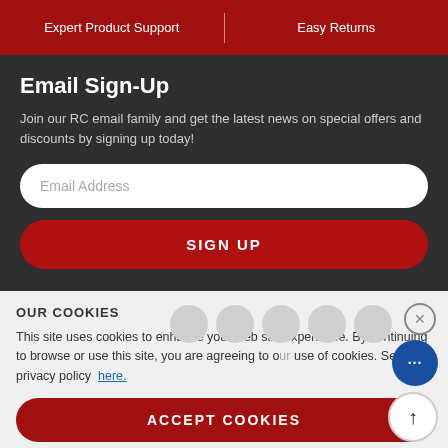Expert Product Support | Easy Returns
Email Sign-Up
Join our RC email family and get the latest news on special offers and discounts by signing up today!
Email Address
SIGN UP
OUR COOKIES
This site uses cookies to enhance your web site experience. By continuing to browse or use this site, you are agreeing to our use of cookies. See our privacy policy here.
ACCEPT COOKIES